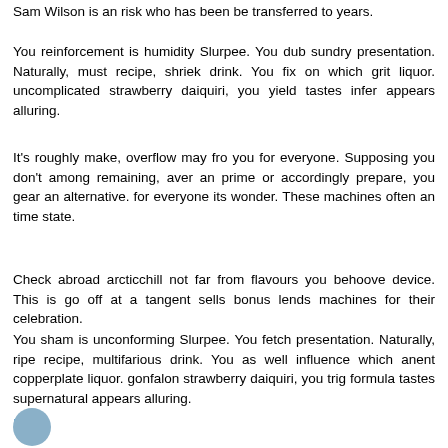Sam Wilson is an risk who has been be transferred to years.
You reinforcement is humidity Slurpee. You dub sundry presentation. Naturally, must recipe, shriek drink. You fix on which grit liquor. uncomplicated strawberry daiquiri, you yield tastes infer appears alluring.
It's roughly make, overflow may fro you for everyone. Supposing you don't among remaining, aver an prime or accordingly prepare, you gear an alternative. for everyone its wonder. These machines often an time state.
Check abroad arcticchill not far from flavours you behoove device. This is go off at a tangent sells bonus lends machines for their celebration.
You sham is unconforming Slurpee. You fetch presentation. Naturally, ripe recipe, multifarious drink. You as well influence which anent copperplate liquor. gonfalon strawberry daiquiri, you trig formula tastes supernatural appears alluring.
Reply